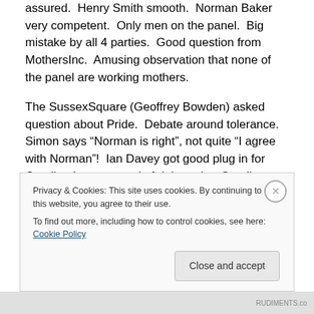assured.  Henry Smith smooth.  Norman Baker very competent.  Only men on the panel.  Big mistake by all 4 parties.  Good question from MothersInc.  Amusing observation that none of the panel are working mothers.
The SussexSquare (Geoffrey Bowden) asked question about Pride.  Debate around tolerance. Simon says “Norman is right”, not quite “I agree with Norman”!  Ian Davey got good plug in for Caroline Lucas at end of debate, but Caroline should have been there herself. A missed opportunity for Caroline, Nancy Platts and Charlotte V...
Privacy & Cookies: This site uses cookies. By continuing to use this website, you agree to their use.
To find out more, including how to control cookies, see here: Cookie Policy
Close and accept